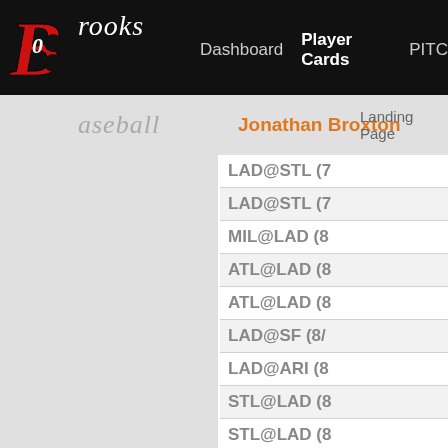Brooks Baseball - Dashboard | Player Cards | PITC...
Jonathan Broxton
Landing Page
LAD@STL (7...
LAD@STL (7...
MIL@LAD (8...
ATL@LAD (8...
ATL@LAD (8...
LAD@SF (8/...
LAD@ARI (8...
STL@LAD (8...
STL@LAD (8...
STL@LAD (8...